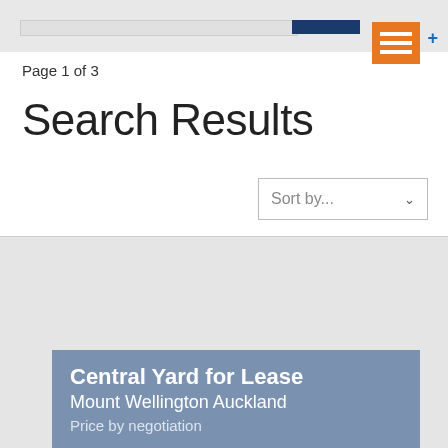Page 1 of 3
Search Results
Sort by...
Central Yard for Lease Mount Wellington Auckland Price by negotiation